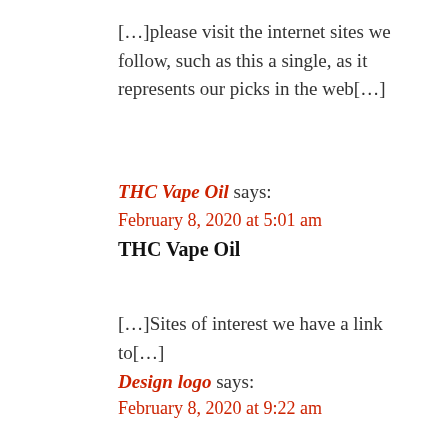[…]please visit the internet sites we follow, such as this a single, as it represents our picks in the web[…]
THC Vape Oil says:
February 8, 2020 at 5:01 am
THC Vape Oil
[…]Sites of interest we have a link to[…]
Design logo says:
February 8, 2020 at 9:22 am
Design logo
[…]that may be the finish of this report. Right here you will uncover some sites that